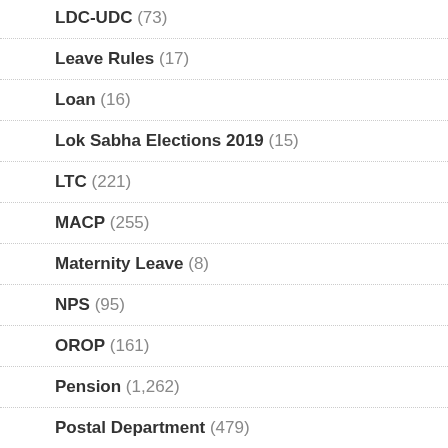LDC-UDC (73)
Leave Rules (17)
Loan (16)
Lok Sabha Elections 2019 (15)
LTC (221)
MACP (255)
Maternity Leave (8)
NPS (95)
OROP (161)
Pension (1,262)
Postal Department (479)
Promotion (210)